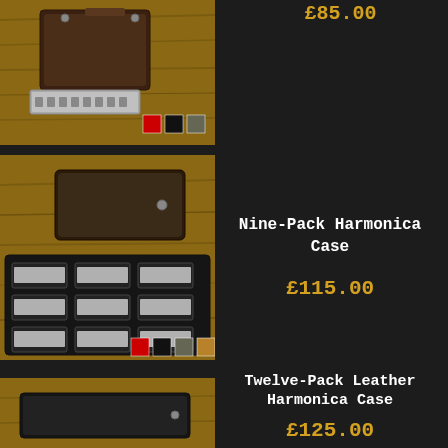£85.00
[Figure (photo): Leather harmonica case on wooden surface with harmonica beside it, color swatches: red, black, grey, tan]
Nine-Pack Harmonica Case
£115.00
[Figure (photo): Nine-Pack leather harmonica case open showing black leather pockets on wooden surface, with color swatches: red, black, grey, tan]
Twelve-Pack Leather Harmonica Case
£125.00
[Figure (photo): Twelve-Pack leather harmonica case shown closed on wooden surface]